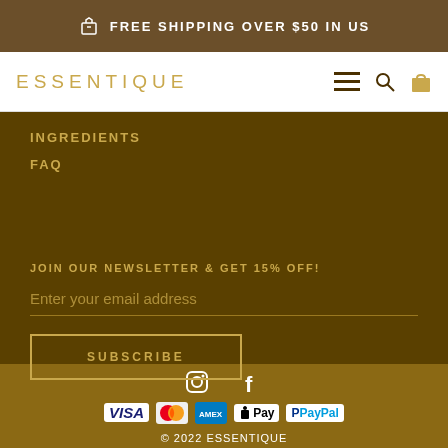FREE SHIPPING OVER $50 IN US
ESSENTIQUE
INGREDIENTS
FAQ
JOIN OUR NEWSLETTER & GET 15% OFF!
Enter your email address
SUBSCRIBE
© 2022 ESSENTIQUE